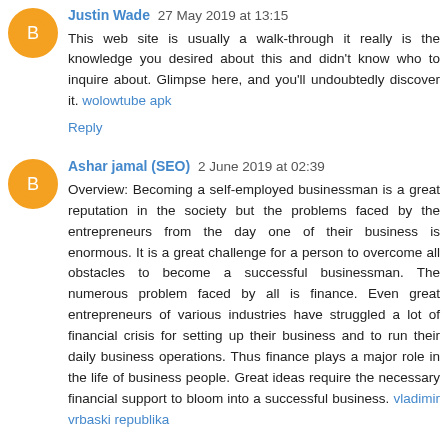Justin Wade 27 May 2019 at 13:15
This web site is usually a walk-through it really is the knowledge you desired about this and didn't know who to inquire about. Glimpse here, and you'll undoubtedly discover it. wolowtube apk
Reply
Ashar jamal (SEO) 2 June 2019 at 02:39
Overview: Becoming a self-employed businessman is a great reputation in the society but the problems faced by the entrepreneurs from the day one of their business is enormous. It is a great challenge for a person to overcome all obstacles to become a successful businessman. The numerous problem faced by all is finance. Even great entrepreneurs of various industries have struggled a lot of financial crisis for setting up their business and to run their daily business operations. Thus finance plays a major role in the life of business people. Great ideas require the necessary financial support to bloom into a successful business. vladimir vrbaski republika